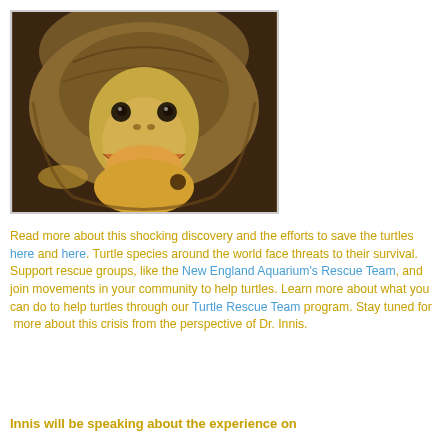[Figure (photo): Close-up photograph of a turtle peeking out from its shell, showing its face with mouth open, yellowish-brown coloring, set against a dark brown background.]
Read more about this shocking discovery and the efforts to save the turtles here and here. Turtle species around the world face threats to their survival. Support rescue groups, like the New England Aquarium's Rescue Team, and join movements in your community to help turtles. Learn more about what you can do to help turtles through our Turtle Rescue Team program. Stay tuned for more about this crisis from the perspective of Dr. Innis.
Innis will be speaking about the experience on